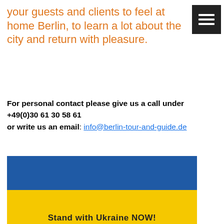your guests and clients to feel at home Berlin, to learn a lot about the city and return with pleasure.
For personal contact please give us a call under +49(0)30 61 30 58 61 or write us an email: info@berlin-tour-and-guide.de
[Figure (illustration): Ukrainian flag (blue top half, yellow bottom half) with partially visible text at bottom reading 'Stand with Ukraine NOW!']